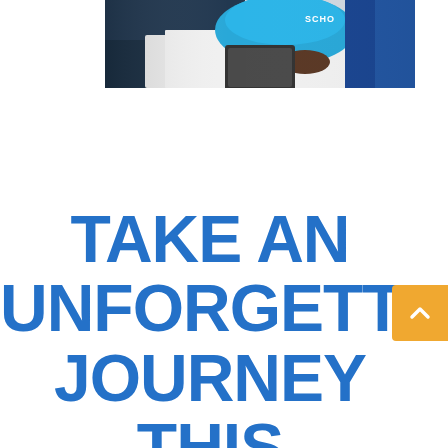[Figure (photo): Photo of a person wearing a light blue shirt with 'SCHO' text visible, leaning over a white surface/table, shot from above/behind.]
TAKE AN UNFORGETTABLE JOURNEY THIS